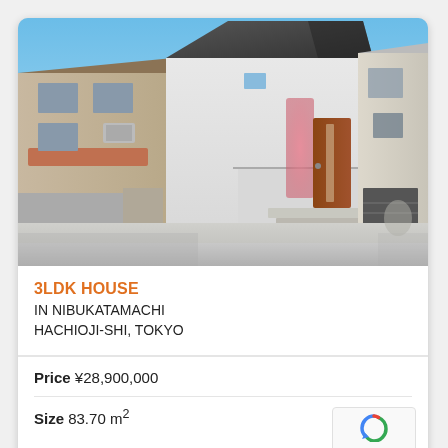[Figure (photo): Exterior photo of a modern 3-story Japanese house with white walls, dark rooftop, wooden front door with pink decorative fabric, flanked by older neighboring buildings, sunny day with blue sky]
3LDK HOUSE
IN NIBUKATAMACHI
HACHIOJI-SHI, TOKYO
Price ¥28,900,000
Size 83.70 m²